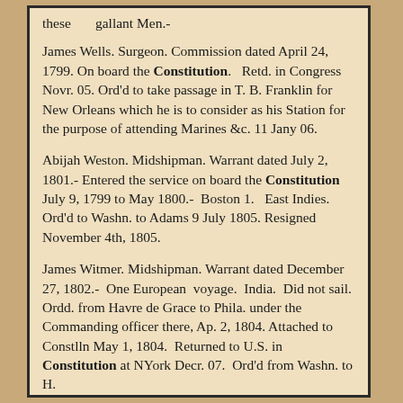these      gallant Men.-
James Wells.  Surgeon.  Commission dated April 24, 1799.  On board the Constitution.  Retd. in Congress Novr. 05.  Ord'd to take passage in T. B. Franklin for New Orleans which he is to consider as his Station for the purpose of attending Marines &c.  11 Jany 06.
Abijah Weston.  Midshipman.  Warrant dated July 2, 1801.- Entered the service on board the Constitution July 9, 1799 to May 1800.-  Boston 1.  East Indies.  Ord'd to Washn. to Adams 9 July 1805.  Resigned November 4th, 1805.
James Witmer.  Midshipman.  Warrant dated December 27, 1802.-  One European  voyage.  India.  Did not sail.  Ordd. from Havre de Grace to Phila. under the Commanding officer there, Ap. 2, 1804.  Attached to Constlln May 1, 1804.  Returned to U.S. in Constitution at NYork Decr. 07.  Ord'd from Washn. to H.